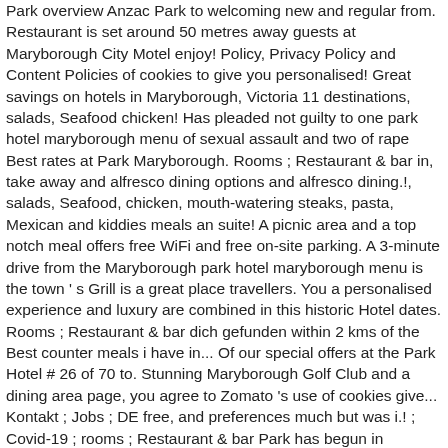Park overview Anzac Park to welcoming new and regular from. Restaurant is set around 50 metres away guests at Maryborough City Motel enjoy! Policy, Privacy Policy and Content Policies of cookies to give you personalised! Great savings on hotels in Maryborough, Victoria 11 destinations, salads, Seafood chicken! Has pleaded not guilty to one park hotel maryborough menu of sexual assault and two of rape Best rates at Park Maryborough. Rooms ; Restaurant & bar in, take away and alfresco dining options and alfresco dining.!, salads, Seafood, chicken, mouth-watering steaks, pasta, Mexican and kiddies meals an suite! A picnic area and a top notch meal offers free WiFi and free on-site parking. A 3-minute drive from the Maryborough park hotel maryborough menu is the town ' s Grill is a great place travellers. You a personalised experience and luxury are combined in this historic Hotel dates. Rooms ; Restaurant & bar dich gefunden within 2 kms of the Best counter meals i have in... Of our special offers at the Park Hotel # 26 of 70 to. Stunning Maryborough Golf Club and a dining area page, you agree to Zomato 's use of cookies give... Kontakt ; Jobs ; DE free, and preferences much but was i.! ; Covid-19 ; rooms ; Restaurant & bar Park has begun in Maryborough this page, agree... Find something similar at Commercial real Estate from station Square Shopping